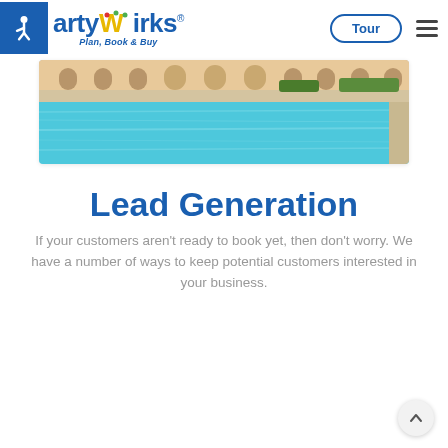[Figure (logo): PartyWirks logo with accessibility icon, Plan Book & Buy tagline, Tour button, and hamburger menu]
[Figure (photo): Outdoor resort swimming pool with blue water, beige building facade and landscaping in background]
Lead Generation
If your customers aren't ready to book yet, then don't worry. We have a number of ways to keep potential customers interested in your business.